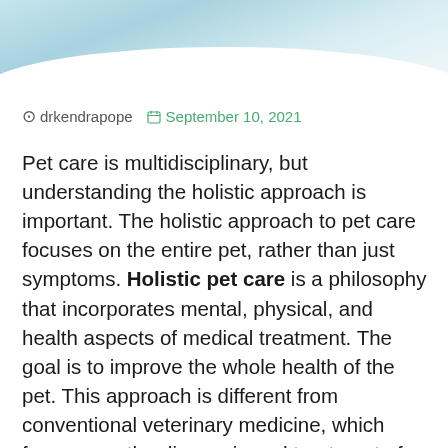[Figure (photo): Partial photo of a pet (likely a dog or cat) at the top of the page, cropped with a curved bottom edge showing light blue/teal colors]
@ drkendrapope   📅 September 10, 2021
Pet care is multidisciplinary, but understanding the holistic approach is important. The holistic approach to pet care focuses on the entire pet, rather than just symptoms. Holistic pet care is a philosophy that incorporates mental, physical, and health aspects of medical treatment. The goal is to improve the whole health of the pet. This approach is different from conventional veterinary medicine, which focuses on the diagnosis and treatment of disease or injury. The holistic approach uses complementary therapies that treat the whole pet, including diet, supplements, and behavioral modifications...